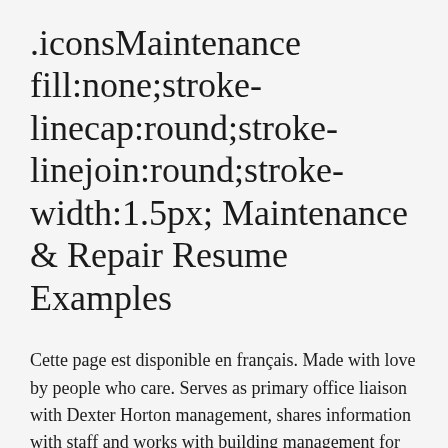.iconsMaintenance fill:none;stroke-linecap:round;stroke-linejoin:round;stroke-width:1.5px; Maintenance & Repair Resume Examples
Cette page est disponible en français. Made with love by people who care. Serves as primary office liaison with Dexter Horton management, shares information with staff and works with building management for maintenance to address issues as needed. Serves as safety leader in fire drills and actual emergencies and leads staff to emergency meet up location. Repairs or replaces burst pipes, and opens clogged drains. Works from blueprints, drawings, models, or verbal and written